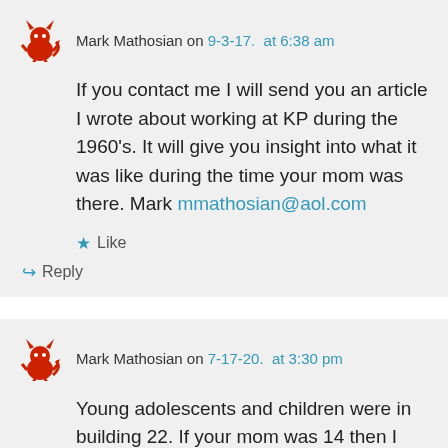Mark Mathosian on 9-3-17. at 6:38 am
If you contact me I will send you an article I wrote about working at KP during the 1960's. It will give you insight into what it was like during the time your mom was there. Mark mmathosian@aol.com
Like
Reply
Mark Mathosian on 7-17-20. at 3:30 pm
Young adolescents and children were in building 22. If your mom was 14 then I feel certain she was in building 22. I worked